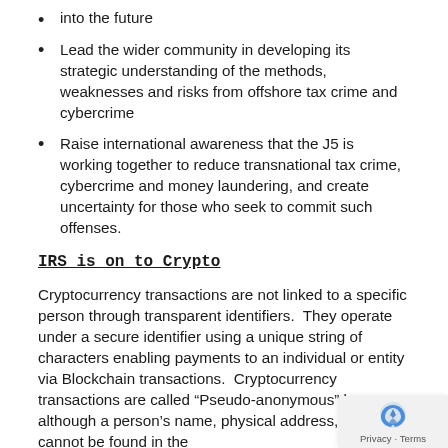into the future
Lead the wider community in developing its strategic understanding of the methods, weaknesses and risks from offshore tax crime and cybercrime
Raise international awareness that the J5 is working together to reduce transnational tax crime, cybercrime and money laundering, and create uncertainty for those who seek to commit such offenses.
IRS is on to Crypto
Cryptocurrency transactions are not linked to a specific person through transparent identifiers.  They operate under a secure identifier using a unique string of characters enabling payments to an individual or entity via Blockchain transactions.  Cryptocurrency transactions are called “Pseudo-anonymous” because although a person’s name, physical address, or email cannot be found in the